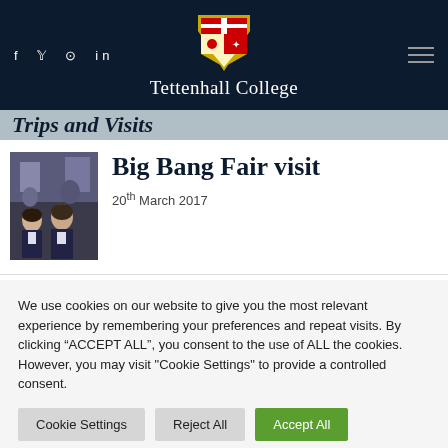f y © in  Tettenhall College
Trips and Visits
[Figure (photo): Two students standing at an exhibition booth at the Big Bang Fair]
Big Bang Fair visit
20th March 2017
We use cookies on our website to give you the most relevant experience by remembering your preferences and repeat visits. By clicking "ACCEPT ALL", you consent to the use of ALL the cookies. However, you may visit "Cookie Settings" to provide a controlled consent.